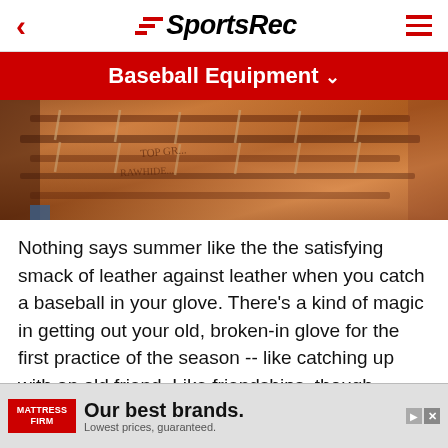SportsRec
Baseball Equipment
[Figure (photo): Close-up photo of a brown leather baseball glove showing the webbing and laces]
Nothing says summer like the the satisfying smack of leather against leather when you catch a baseball in your glove. There's a kind of magic in getting out your old, broken-in glove for the first practice of the season -- like catching up with an old friend. Like friendships, though, baseball gloves require maintenance. The laces can stretch and loosen, requiring you to tighten them. If you've grown since you last used the glove, the laces m...ttle League...asy fix.
[Figure (other): Advertisement for Mattress Firm: 'Our best brands. Lowest prices, guaranteed.']